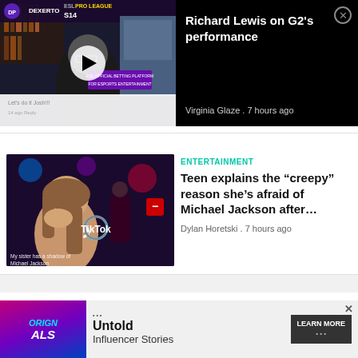[Figure (screenshot): Video thumbnail for ESL Pro League S14 with man in glasses in dark room, Dexerto logo and ESL PRO LEAGUE S14 banner at top, play button overlay, comments section visible at bottom]
Richard Lewis on G2's performance
Virginia Glaze . 7 hours ago
[Figure (photo): TikTok video screenshot of young woman covering mouth in shock, nightclub background, TikTok logo overlay, caption text 'my sister has a shadow of Michael Jackson']
ENTERTAINMENT
Teen explains the “creepy” reason she’s afraid of Michael Jackson after…
Dylan Horetski . 7 hours ago
[Figure (screenshot): Advertisement banner for Untold Influencer Stories with colorful gradient logo on left, bullet points, Untold text, Influencer Stories subtitle, and LEARN MORE button]